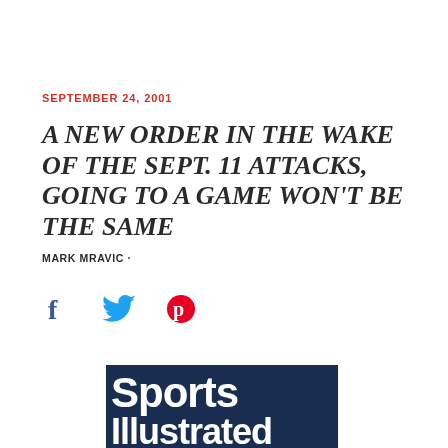SEPTEMBER 24, 2001
A NEW ORDER IN THE WAKE OF THE SEPT. 11 ATTACKS, GOING TO A GAME WON'T BE THE SAME
MARK MRAVIC ·
[Figure (illustration): Social sharing icons: Facebook (blue), Twitter (blue bird), Pinterest (red)]
[Figure (photo): Sports Illustrated magazine cover showing 'The Week That Sports Stood Still' with stadium seats draped in an American flag on a dark navy background]